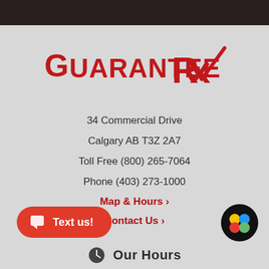[Figure (logo): Guarantee Rx pharmacy logo in red with stylized Rx mark and checkmark]
34 Commercial Drive
Calgary AB T3Z 2A7
Toll Free (800) 265-7064
Phone (403) 273-1000
Map & Hours ›
Contact Us ›
[Figure (illustration): Red rounded button with chat icon and Text us! label]
[Figure (illustration): Black circular badge with colorful dots]
Our Hours